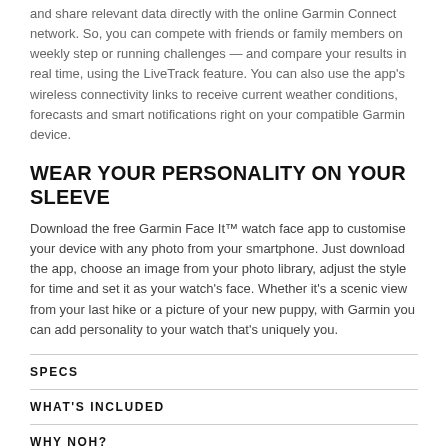and share relevant data directly with the online Garmin Connect network. So, you can compete with friends or family members on weekly step or running challenges — and compare your results in real time, using the LiveTrack feature. You can also use the app's wireless connectivity links to receive current weather conditions, forecasts and smart notifications right on your compatible Garmin device.
WEAR YOUR PERSONALITY ON YOUR SLEEVE
Download the free Garmin Face It™ watch face app to customise your device with any photo from your smartphone. Just download the app, choose an image from your photo library, adjust the style for time and set it as your watch's face. Whether it's a scenic view from your last hike or a picture of your new puppy, with Garmin you can add personality to your watch that's uniquely you.
SPECS
WHAT'S INCLUDED
WHY NOH?